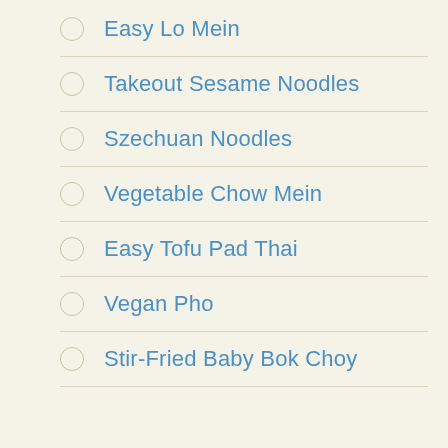Easy Lo Mein
Takeout Sesame Noodles
Szechuan Noodles
Vegetable Chow Mein
Easy Tofu Pad Thai
Vegan Pho
Stir-Fried Baby Bok Choy